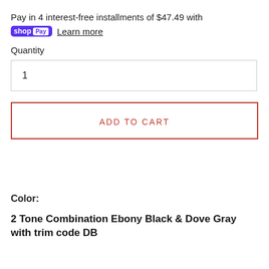Pay in 4 interest-free installments of $47.49 with
shop Pay  Learn more
Quantity
1
ADD TO CART
Color:
2 Tone Combination Ebony Black & Dove Gray with trim code DB